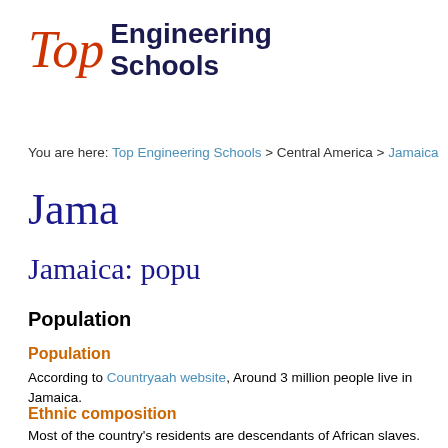[Figure (logo): Top Engineering Schools logo with italic red 'Top' and bold dark blue 'Engineering Schools' text]
You are here: Top Engineering Schools > Central America > Jamaica
Jamaica
Jamaica: popu
Population
Population
According to Countryaah website, Around 3 million people live in Jamaica.
Ethnic composition
Most of the country's residents are descendants of African slaves. Around 76% are around 1.3% Indians and residents of European or Chinese origin. The Native Ame slightly with the other residents.
Religious affiliation
Around 60% of the country's residents are Protestants and above all Anglicans, Ba among various natural religions as well as Jews, Muslims, Hindus and Bahais.